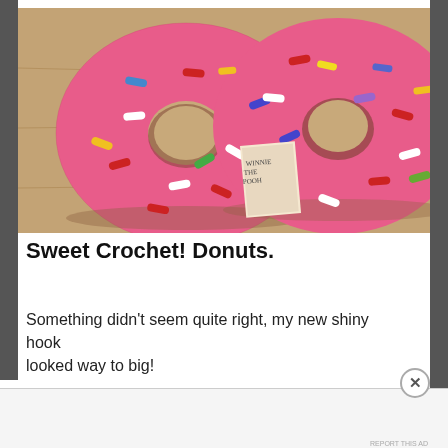[Figure (photo): Two pink crochet donut pillows with colorful sprinkles (red, white, blue, yellow, green) on a wooden surface, with a Winnie the Pooh book visible between them]
Sweet Crochet! Donuts.
Something didn't seem quite right, my new shiny hook looked way to big!
Advertisements
[Figure (screenshot): Bloomingdale's advertisement banner: 'bloomingdales / View Today's Top Deals!' with woman wearing large hat and 'SHOP NOW >' button]